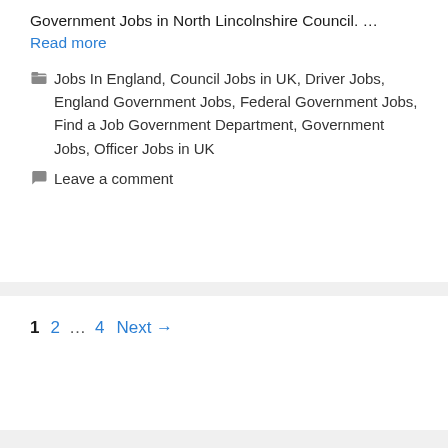Government Jobs in North Lincolnshire Council. … Read more
Categories: Jobs In England, Council Jobs in UK, Driver Jobs, England Government Jobs, Federal Government Jobs, Find a Job Government Department, Government Jobs, Officer Jobs in UK
Leave a comment
Pagination: 1 2 … 4 Next →